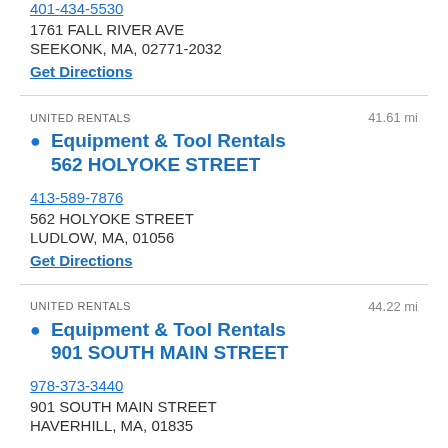401-434-5530
1761 FALL RIVER AVE
SEEKONK, MA, 02771-2032
Get Directions
UNITED RENTALS   41.61 mi
Equipment & Tool Rentals 562 HOLYOKE STREET
413-589-7876
562 HOLYOKE STREET
LUDLOW, MA, 01056
Get Directions
UNITED RENTALS   44.22 mi
Equipment & Tool Rentals 901 SOUTH MAIN STREET
978-373-3440
901 SOUTH MAIN STREET
HAVERHILL, MA, 01835